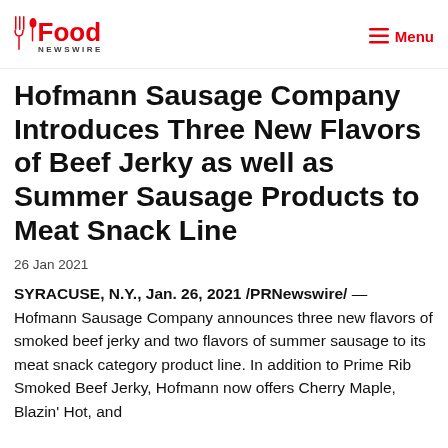Food Newswire | Menu
Hofmann Sausage Company Introduces Three New Flavors of Beef Jerky as well as Summer Sausage Products to Meat Snack Line
26 Jan 2021
SYRACUSE, N.Y., Jan. 26, 2021 /PRNewswire/ — Hofmann Sausage Company announces three new flavors of smoked beef jerky and two flavors of summer sausage to its meat snack category product line. In addition to Prime Rib Smoked Beef Jerky, Hofmann now offers Cherry Maple, Blazin' Hot, and